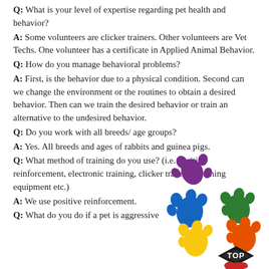Q: What is your level of expertise regarding pet health and behavior?
A: Some volunteers are clicker trainers. Other volunteers are Vet Techs. One volunteer has a certificate in Applied Animal Behavior.
Q: How do you manage behavioral problems?
A: First, is the behavior due to a physical condition. Second can we change the environment or the routines to obtain a desired behavior. Then can we train the desired behavior or train an alternative to the undesired behavior.
Q: Do you work with all breeds/ age groups?
A: Yes. All breeds and ages of rabbits and guinea pigs.
Q: What method of training do you use? (i.e. positive reinforcement, electronic training, clicker training, training equipment etc.)
A: We use positive reinforcement.
Q: What do you do if a pet is aggressive
[Figure (illustration): Colorful paw print decorations with a diamond-shaped TOP badge in bottom right corner]